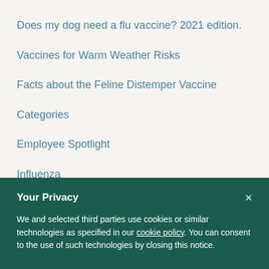Does my dog need a flu vaccine? 2021 edition.
Vaccines for Warm Weather Risks
Facts about the Feline Distemper Vaccine
Categories
Employee Spotlight
Influenza
Your Privacy
We and selected third parties use cookies or similar technologies as specified in our cookie policy. You can consent to the use of such technologies by closing this notice.